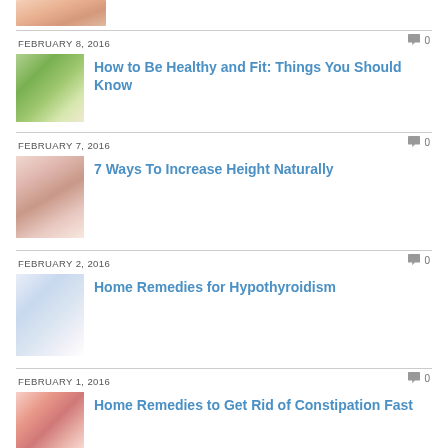[Figure (photo): Partial image of a hand/skin condition at the top of the page]
FEBRUARY 8, 2016
0
[Figure (photo): Woman stretching outdoors in a green field]
How to Be Healthy and Fit: Things You Should Know
FEBRUARY 7, 2016
0
[Figure (photo): Child being measured for height]
7 Ways To Increase Height Naturally
FEBRUARY 2, 2016
0
[Figure (photo): Person holding throat/neck area, thyroid related]
Home Remedies for Hypothyroidism
FEBRUARY 1, 2016
0
[Figure (photo): Close-up of stomach/abdomen area with redness]
Home Remedies to Get Rid of Constipation Fast